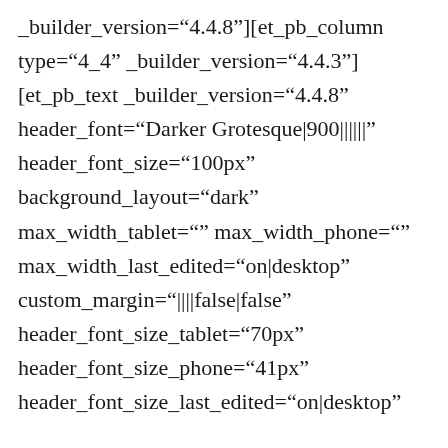_builder_version="4.4.8"][et_pb_column type="4_4" _builder_version="4.4.3"][et_pb_text _builder_version="4.4.8" header_font="Darker Grotesque|900||||||" header_font_size="100px" background_layout="dark" max_width_tablet="" max_width_phone="" max_width_last_edited="on|desktop" custom_margin="||||false|false" header_font_size_tablet="70px" header_font_size_phone="41px" header_font_size_last_edited=